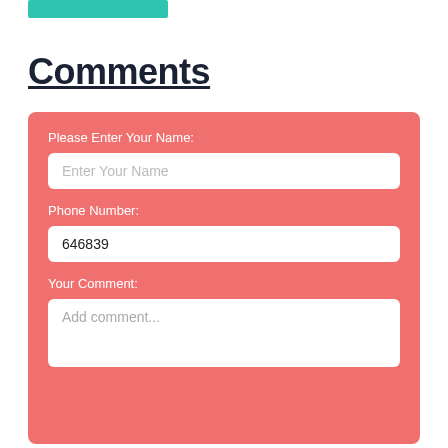[Figure (other): Teal/green colored button or bar at top left]
Comments
[Figure (other): Comment form with salmon/coral background containing fields: Please Enter Your Name (empty input), Phone Number (value: 646839), Your Comment (textarea with placeholder 'Add comment...')]